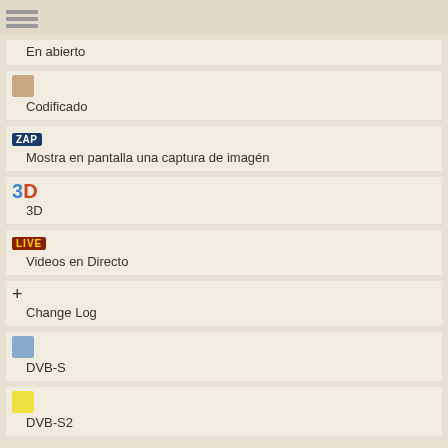[Figure (illustration): Hamburger menu icon with three horizontal gray bars]
En abierto
[Figure (illustration): Small tan/brown square icon]
Codificado
[Figure (illustration): ZAP badge in dark blue with white text]
Mostra en pantalla una captura de imagén
[Figure (illustration): 3D icon with blue 3 and red D]
3D
[Figure (illustration): LIVE badge in dark red with yellow text]
Videos en Directo
[Figure (illustration): Plus sign +]
Change Log
[Figure (illustration): Small light blue square icon]
DVB-S
[Figure (illustration): Small yellow square icon]
DVB-S2